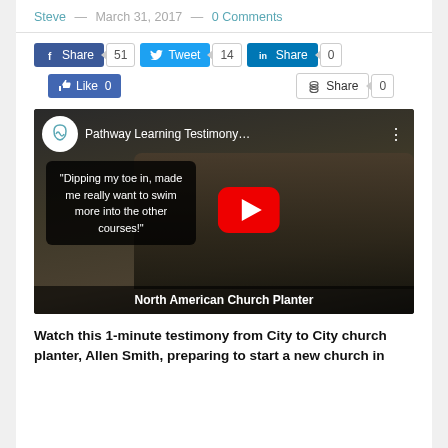Steve — March 31, 2017 — 0 Comments
Share 51  Tweet 14  Share 0  Like 0  Share 0
[Figure (screenshot): YouTube video thumbnail titled 'Pathway Learning Testimony...' showing a man with a quote overlay: "Dipping my toe in, made me really want to swim more into the other courses!" and a caption 'North American Church Planter' at the bottom. A red YouTube play button is centered on the video.]
Watch this 1-minute testimony from City to City church planter, Allen Smith, preparing to start a new church in